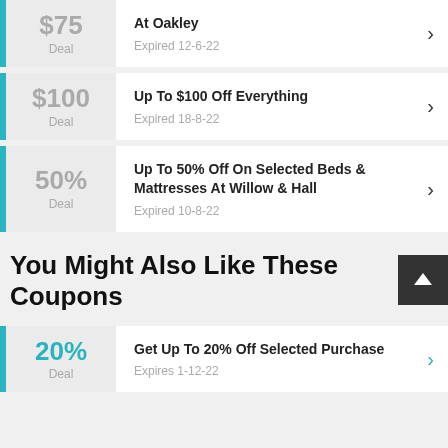$75 Deal — At Oakley — Expired 12-6-22
$100 Deal — Up To $100 Off Everything — Expired 18-8-22
50% Deal — Up To 50% Off On Selected Beds & Mattresses At Willow & Hall — Expired 10-8-22
You Might Also Like These Coupons
20% Deal — Get Up To 20% Off Selected Purchase — Expires 1-12-22